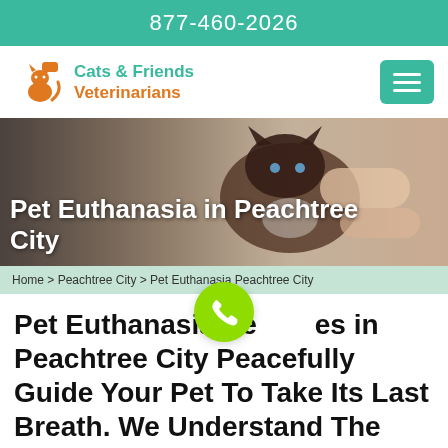877-460-2026
[Figure (logo): Cats & Friends Veterinarians logo with orange cat icon and teal/orange text]
[Figure (photo): Hero photo of a Siamese cat being gently petted by human hands, with a semi-transparent dark overlay on the left]
Pet Euthanasia in Peachtree City
Home > Peachtree City > Pet Euthanasia Peachtree City
Pet Euthanasia Services in Peachtree City Peacefully Guide Your Pet To Take Its Last Breath. We Understand The Sadness Involved in